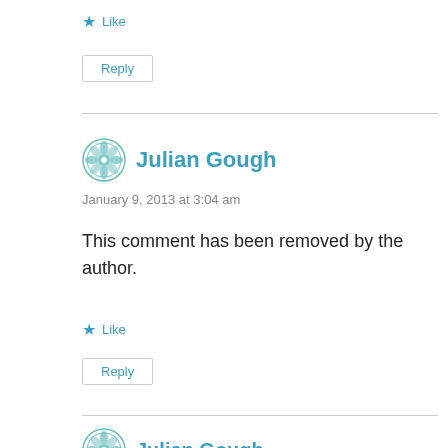★ Like
Reply
Julian Gough
January 9, 2013 at 3:04 am
This comment has been removed by the author.
★ Like
Reply
Julian Gough